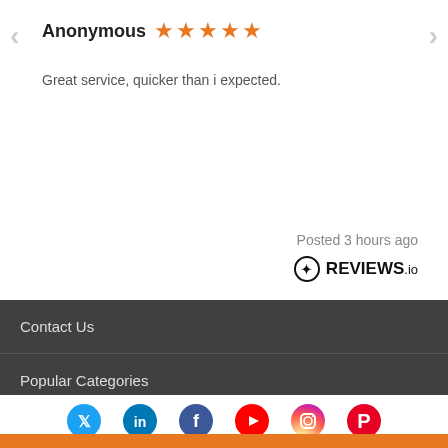Anonymous ★★★★★
Great service, quicker than i expected.
Posted 3 hours ago
[Figure (logo): REVIEWS.io logo with circular icon]
Contact Us
Popular Categories
Help & Info
Your Account
[Figure (infographic): Social media icons: Twitter, LinkedIn, Facebook, YouTube, Instagram, Pinterest]